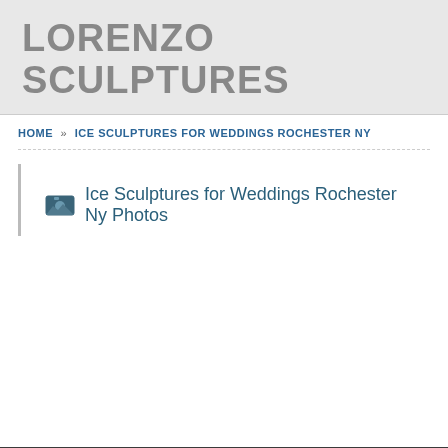LORENZO SCULPTURES
HOME » ICE SCULPTURES FOR WEDDINGS ROCHESTER NY
Ice Sculptures for Weddings Rochester Ny Photos
This site uses cookies  No problem  More info